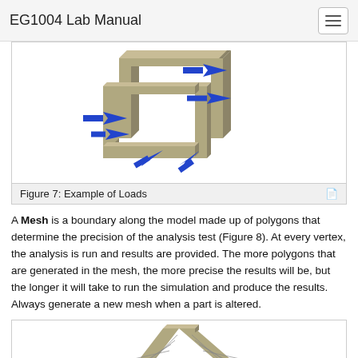EG1004 Lab Manual
[Figure (engineering-diagram): 3D isometric view of a structural frame with blue arrows indicating applied loads at multiple joint locations]
Figure 7: Example of Loads
A Mesh is a boundary along the model made up of polygons that determine the precision of the analysis test (Figure 8). At every vertex, the analysis is run and results are provided. The more polygons that are generated in the mesh, the more precise the results will be, but the longer it will take to run the simulation and produce the results. Always generate a new mesh when a part is altered.
[Figure (engineering-diagram): 3D isometric view of a structural frame with mesh triangulation visible on the surfaces, partially shown at bottom of page]